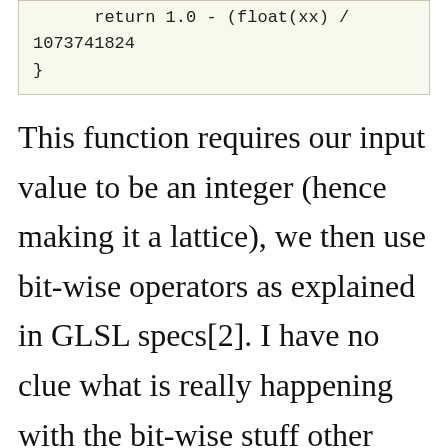return 1.0 - (float(xx) / 1073741824
}
This function requires our input value to be an integer (hence making it a lattice), we then use bit-wise operators as explained in GLSL specs[2]. I have no clue what is really happening with the bit-wise stuff other then we are shifting the number around… sorry I dont know more. The numbers that we used are right from Hugos example [1].